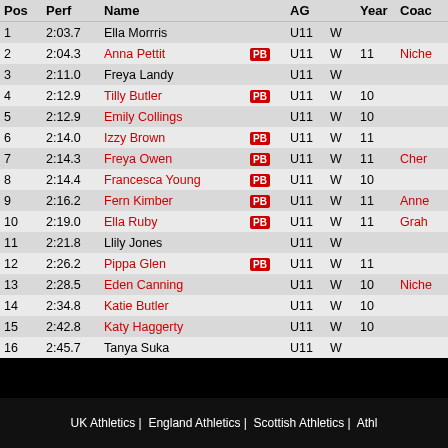| Pos | Perf | Name |  | AG |  | Year | Coach |
| --- | --- | --- | --- | --- | --- | --- | --- |
| 1 | 2:03.7 | Ella Morrris |  | U11 | W |  |  |
| 2 | 2:04.3 | Anna Pettit | PB | U11 | W | 11 | Niche... |
| 3 | 2:11.0 | Freya Landy |  | U11 | W |  |  |
| 4 | 2:12.9 | Tilly Butler | PB | U11 | W | 10 |  |
| 5 | 2:12.9 | Emily Collings |  | U11 | W | 10 |  |
| 6 | 2:14.0 | Izzy Brown | PB | U11 | W | 11 |  |
| 7 | 2:14.3 | Freya Owen | PB | U11 | W | 11 | Cher... |
| 8 | 2:14.4 | Francesca Young | PB | U11 | W | 10 |  |
| 9 | 2:16.2 | Fern Kimber | PB | U11 | W | 11 | Anne... |
| 10 | 2:19.0 | Ella Ruby | PB | U11 | W | 11 | Grah... |
| 11 | 2:21.8 | Llily Jones |  | U11 | W |  |  |
| 12 | 2:26.2 | Pippa Glen | PB | U11 | W | 11 |  |
| 13 | 2:28.5 | Eden Canning |  | U11 | W | 10 | Niche... |
| 14 | 2:34.8 | Katie Butler |  | U11 | W | 10 |  |
| 15 | 2:42.8 | Katy Haggerty |  | U11 | W | 10 |  |
| 16 | 2:45.7 | Tanya Suka |  | U11 | W |  |  |
UK Athletics | England Athletics | Scottish Athletics | Athl...